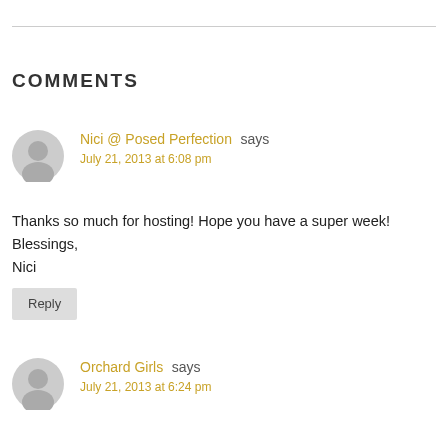COMMENTS
Nici @ Posed Perfection says
July 21, 2013 at 6:08 pm
Thanks so much for hosting! Hope you have a super week! Blessings,
Nici
Reply
Orchard Girls says
July 21, 2013 at 6:24 pm